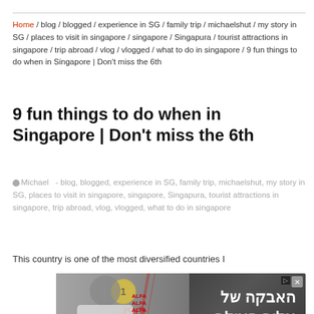Home / blog / blogged / experience in SG / family trip / michaelshut / my story in SG / places to visit in singapore / singapore / Singapura / tourist attractions in singapore / trip abroad / vlog / vlogged / what to do in singapore / 9 fun things to do when in Singapore | Don't miss the 6th
9 fun things to do when in Singapore | Don't miss the 6th
Michael  - blog, blogged, experience in SG, family trip, michaelshut, my story in SG, places to visit in singapore, singapore, Singapura, tourist attractions in singapore, trip abroad, vlog, vlogged, what to do in singapore
This country is one of the most diversified countries I
[Figure (photo): Advertisement banner for ALFA protein product featuring a man in white shirt, gold medal graphic, ISO ALFA branding in red and black, and Hebrew text reading 'האבקה של אלוף העולם' (The protein of the world champion). Red button with Hebrew text at bottom left, ALFA logo at bottom right.]